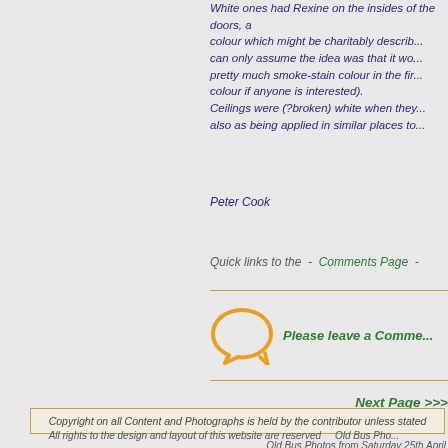White ones had Rexine on the insides of the doors, a colour which might be charitably described... can only assume the idea was that it wo... pretty much smoke-stain colour in the fir... colour if anyone is interested). Ceilings were (?broken) white when they... also as being applied in similar places to...
Peter Cook
Quick links to the  -  Comments Page  -
[Figure (illustration): Orange speech bubble / comment icon]
Please leave a Comme...
Next Page >>>
Copyright on all Content and Photographs is held by the contributor unless stated
All rights to the design and layout of this website are reserved    Old Bus Pho...
Old Bus Photos from Saturday 25th April